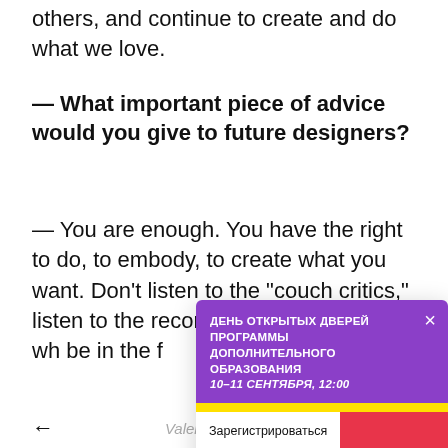others, and continue to create and do what we love.
— What important piece of advice would you give to future designers?
— You are enough. You have the right to do, to embody, to create what you want. Don't listen to the "couch critics," listen to the recom people wh activity wh be in the f
[Figure (infographic): Purple popup modal overlay with Russian text: ДЕНЬ ОТКРЫТЫХ ДВЕРЕЙ ПРОГРАММЫ ДОПОЛНИТЕЛЬНОГО ОБРАЗОВАНИЯ 10–11 СЕНТЯБРЯ, 12:00, a close (×) button, colorful horizontal stripes (yellow, red, pink, purple, blue, green, magenta), and a 'Зарегистрироваться' button on white background with a red stripe.]
← Valenya Kubacheva >